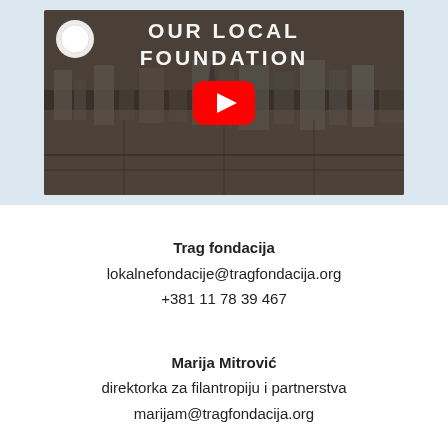[Figure (screenshot): YouTube video thumbnail showing an aerial view of a city with text 'OUR LOCAL FOUNDATION' and a YouTube play button overlay. A small circular logo is in the top-left corner.]
Trag fondacija
lokalnefondacije@tragfondacija.org
+381 11 78 39 467
Marija Mitrović
direktorka za filantropiju i partnerstva
marijam@tragfondacija.org